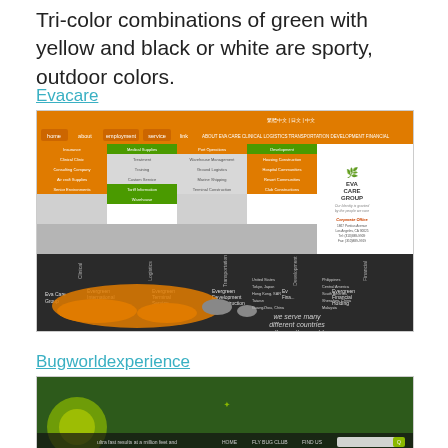Tri-color combinations of green with yellow and black or white are sporty, outdoor colors.
Evacare
[Figure (screenshot): Screenshot of the Evacare / Eva Care Group website showing orange navigation bar, green and orange category menu, company logo with leaf graphic, world map with orange highlighted countries, and corporate contact information.]
Bugworldexperience
[Figure (screenshot): Partial screenshot of the Bugworldexperience website showing a green nature-themed header with navigation bar and search field.]